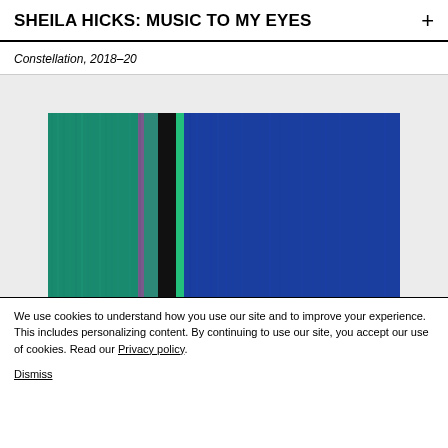SHEILA HICKS: MUSIC TO MY EYES
Constellation, 2018–20
[Figure (photo): Textile artwork by Sheila Hicks showing vertical fiber strands in teal/green on the left transitioning through purple, black, and bright green bands to deep cobalt blue on the right, photographed close-up.]
We use cookies to understand how you use our site and to improve your experience. This includes personalizing content. By continuing to use our site, you accept our use of cookies. Read our Privacy policy.
Dismiss